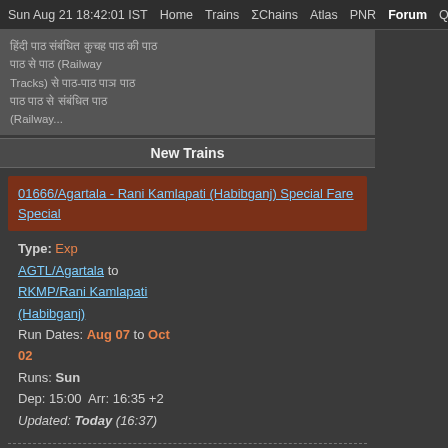Sun Aug 21 18:42:01 IST  Home  Trains  ΣChains  Atlas  PNR  Forum  Quiz R
Hindi text snippet about Railway Tracks (Railway...)
New Trains
01666/Agartala - Rani Kamlapati (Habibganj) Special Fare Special
Type: Exp
AGTL/Agartala to RKMP/Rani Kamlapati (Habibganj)
Run Dates: Aug 07 to Oct 02
Runs: Sun
Dep: 15:00  Arr: 16:35 +2
Updated: Today (16:37)
08066/Belda - Kharagpur MEMU Special